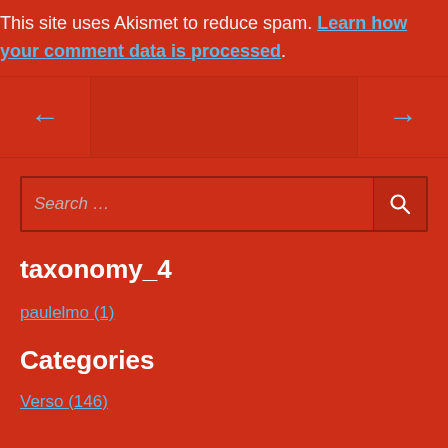This site uses Akismet to reduce spam. Learn how your comment data is processed.
[Figure (other): Navigation row with left arrow, center panel, and right arrow for post navigation]
Search …
taxonomy_4
paulelmo (1)
Categories
Verso (146)